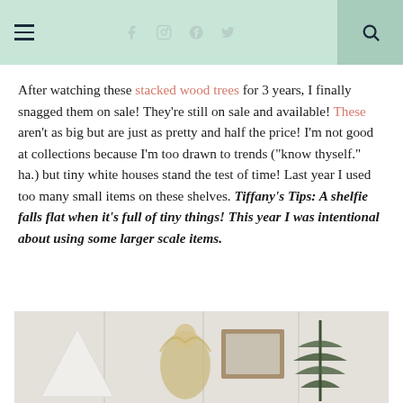Navigation bar with hamburger menu, social icons (facebook, instagram, pinterest, twitter), and search icon
After watching these stacked wood trees for 3 years, I finally snagged them on sale! They're still on sale and available! These aren't as big but are just as pretty and half the price! I'm not good at collections because I'm too drawn to trends ("know thyself." ha.) but tiny white houses stand the test of time! Last year I used too many small items on these shelves. Tiffany's Tips: A shelfie falls flat when it's full of tiny things! This year I was intentional about using some larger scale items.
[Figure (photo): Photo of a holiday shelf display with white background panels, featuring a golden angel figurine, a framed picture, and evergreen branches, partially visible at bottom of page]